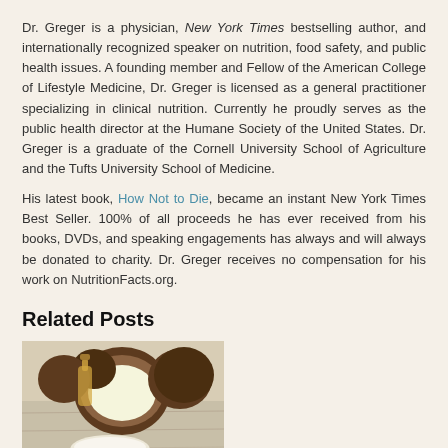Dr. Greger is a physician, New York Times bestselling author, and internationally recognized speaker on nutrition, food safety, and public health issues. A founding member and Fellow of the American College of Lifestyle Medicine, Dr. Greger is licensed as a general practitioner specializing in clinical nutrition. Currently he proudly serves as the public health director at the Humane Society of the United States. Dr. Greger is a graduate of the Cornell University School of Agriculture and the Tufts University School of Medicine.
His latest book, How Not to Die, became an instant New York Times Best Seller. 100% of all proceeds he has ever received from his books, DVDs, and speaking engagements has always and will always be donated to charity. Dr. Greger receives no compensation for his work on NutritionFacts.org.
Related Posts
[Figure (photo): Photo of coconuts, coconut oil in a glass bottle, and coconut flesh on a wooden surface]
Does Coconut Oil Help With Abdominal Fat?
10/25/2021
NutritionFacts.org
[Figure (photo): Photo of clouds and sky (partially visible)]